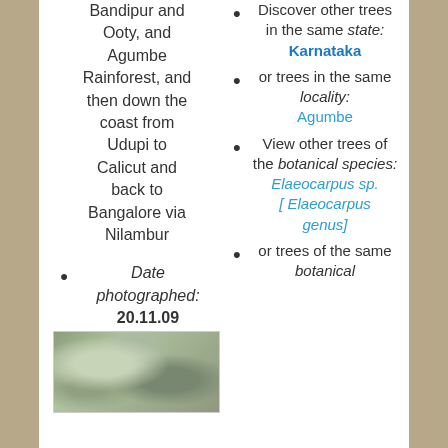Bandipur and Ooty, and Agumbe Rainforest, and then down the coast from Udupi to Calicut and back to Bangalore via Nilambur
Date photographed: 20.11.09
Discover other trees in the same state: Karnataka
or trees in the same locality: Agumbe
View other trees of the botanical species: Elaeocarpus sp. [ Elaeocarpus genus]
or trees of the same botanical
[Figure (photo): Close-up photograph of tree bark or similar natural texture, gray-green mottled surface]